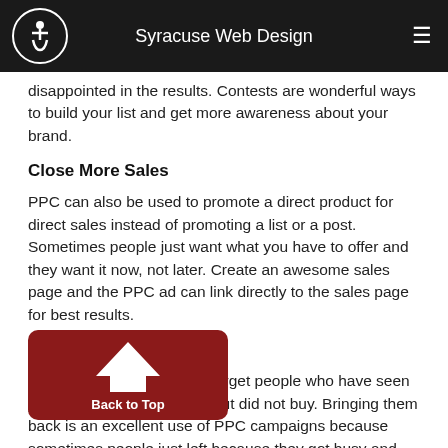Syracuse Web Design
disappointed in the results. Contests are wonderful ways to build your list and get more awareness about your brand.
Close More Sales
PPC can also be used to promote a direct product for direct sales instead of promoting a list or a post. Sometimes people just want what you have to offer and they want it now, not later. Create an awesome sales page and the PPC ad can link directly to the sales page for best results.
Retarget Consumers
A great use of PPC is to retarget people who have seen your website and offerings but did not buy. Bringing them back is an excellent use of PPC campaigns because sometimes people just left because they got busy and the reminder to go back will help.
Facebook wants you to succeed using their PPC advertising platform. This just makes sense. If you